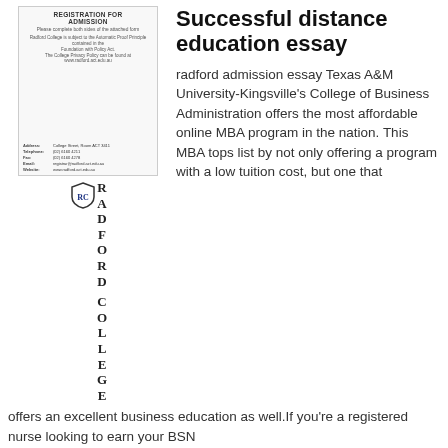[Figure (other): Radford College Registration for Admission form thumbnail with college contact details]
[Figure (other): Radford College vertical logo text spelling out RADFORD COLLEGE with shield icon]
Successful distance education essay
radford admission essay Texas A&M University-Kingsville's College of Business Administration offers the most affordable online MBA program in the nation. This MBA tops list by not only offering a program with a low tuition cost, but one that offers an excellent business education as well.If you're a registered nurse looking to earn your BSN
[Figure (other): Broken image placeholder labeled Radford admission essay]
READ MORE
radford essay questions - Mary Baldwin University
5/21/2020 · Download. The Radford Admission Essay number of tasks Radford Admission Essay may vary greatly from subject to